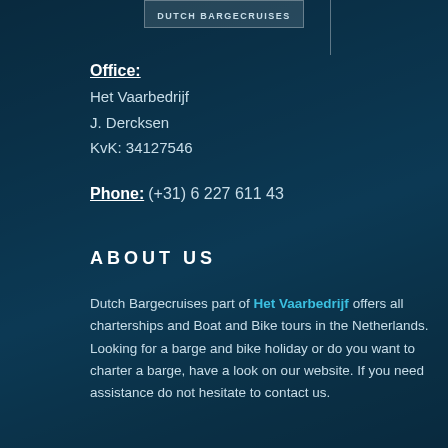DUTCH BARGECRUISES
Office:
Het Vaarbedrijf
J. Dercksen
KvK: 34127546
Phone: (+31) 6 227 611 43
ABOUT US
Dutch Bargecruises part of Het Vaarbedrijf offers all charterships and Boat and Bike tours in the Netherlands. Looking for a barge and bike holiday or do you want to charter a barge, have a look on our website. If you need assistance do not hesitate to contact us.